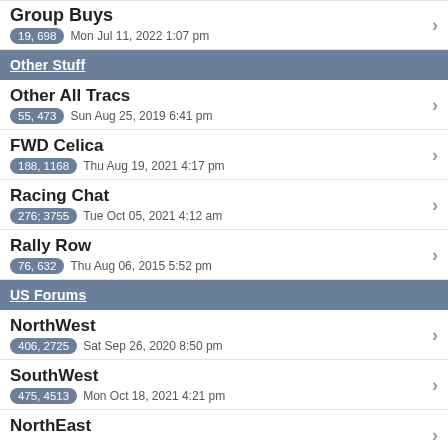Group Buys
19, 698  Mon Jul 11, 2022 1:07 pm
Other Stuff
Other All Tracs
55, 473  Sun Aug 25, 2019 6:41 pm
FWD Celica
188, 1168  Thu Aug 19, 2021 4:17 pm
Racing Chat
276; 3755  Tue Oct 05, 2021 4:12 am
Rally Row
76, 632  Thu Aug 06, 2015 5:52 pm
US Forums
NorthWest
406, 2725  Sat Sep 26, 2020 8:50 pm
SouthWest
475, 4513  Mon Oct 18, 2021 4:21 pm
NorthEast